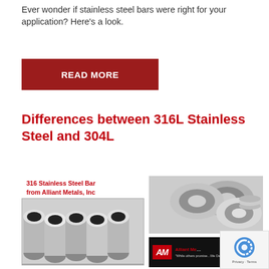Ever wonder if stainless steel bars were right for your application? Here’s a look.
[Figure (other): Red button / call-to-action reading READ MORE]
Differences between 316L Stainless Steel and 304L
316 Stainless Steel Bar from Alliant Metals, Inc
[Figure (photo): Photo of stainless steel round tubes/bars stacked together]
[Figure (photo): Photo of stainless steel coils/rolls stacked together]
[Figure (logo): Alliant Metals, Inc logo with tagline: While others promise...We Deliver]
[Figure (other): reCAPTCHA Privacy - Terms widget]